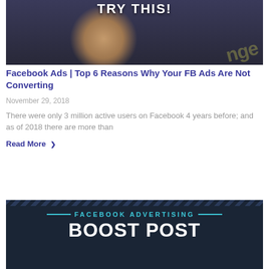[Figure (photo): Video thumbnail showing a man holding a blue pen, with text 'TRY THIS!' at the top and a watermark in the bottom right corner. Dark blue/grey background.]
Facebook Ads | Top 6 Reasons Why Your FB Ads Are Not Converting
November 29, 2018
There were only 3 million active users on Facebook 4 years before; and as of 2018 there are more than
Read More  ❯
[Figure (infographic): Dark navy blue infographic banner with diagonal stripe pattern at top, teal text reading 'FACEBOOK ADVERTISING' and large white bold text reading 'BOOST POST']